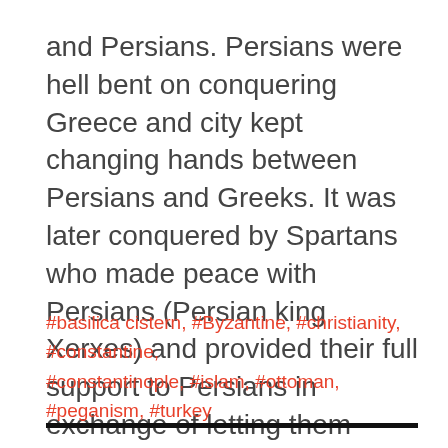and Persians. Persians were hell bent on conquering Greece and city kept changing hands between Persians and Greeks. It was later conquered by Spartans who made peace with Persians (Persian king Xerxes) and provided their full support to Persians in exchange of letting them govern Byzantium.
#basilica cistern, #Byzantine, #christianity, #constantine, #constantinople, #islam, #ottoman, #peganism, #turkey